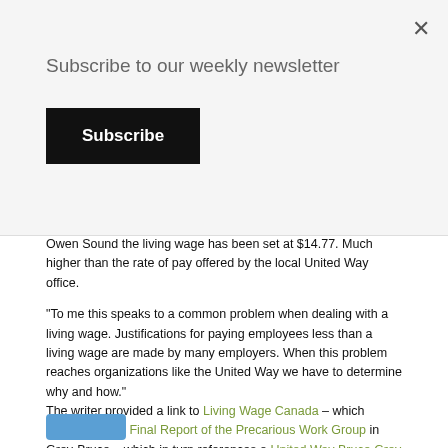Subscribe to our weekly newsletter
Subscribe
Owen Sound the living wage has been set at $14.77. Much higher than the rate of pay offered by the local United Way office.
"To me this speaks to a common problem when dealing with a living wage. Justifications for paying employees less than a living wage are made by many employers. When this problem reaches organizations like the United Way we have to determine why and how." The writer provided a link to Living Wage Canada – which references the Final Report of the Precarious Work Group in Grey-Bruce – which in turn references a United Way Bruce Grey Living Wage Report (no longer online) which included the $14.77 living wage calculation for the city of Owen Sound.
Francesca Dobbyn, Executive Director of the local United Way, was clearly caught on a familiar hook for charitable enterprises - pointing out the realities of precarious work in the community while controlling overhead within the organization.
There was clearly a reconsideration within the organization after the conversation became public - the same afternoon the ad was reposted with a new rate of pay - $15 per hour.